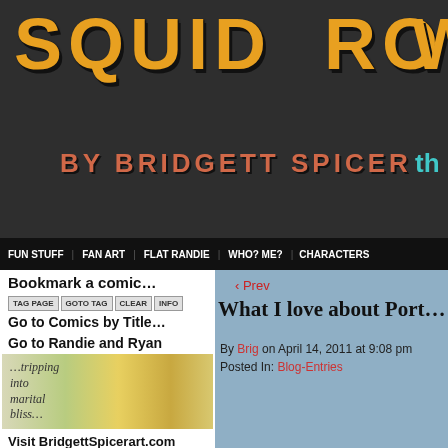[Figure (illustration): Squid Row webcomic banner with dark background, orange distressed text 'SQUID ROW' and subtitle 'BY BRIDGETT SPICER' in salmon/orange lettering, with teal 'th' visible at right edge]
FUN STUFF   FAN ART   FLAT RANDIE   WHO? ME?   CHARACTERS
Bookmark a comic…
TAG PAGE  GOTO TAG  CLEAR  INFO
Go to Comics by Title…
Go to Randie and Ryan
[Figure (illustration): Comic strip thumbnail showing cartoon characters with text '...tripping into marital bliss...' with flowers]
Visit BridgettSpicerart.com
[Figure (photo): Photo of a woman with glasses holding a Randie and Ryan comic book/publication]
‹ Prev
What I love about Port…
By Brig on April 14, 2011 at 9:08 pm
Posted In: Blog-Entries